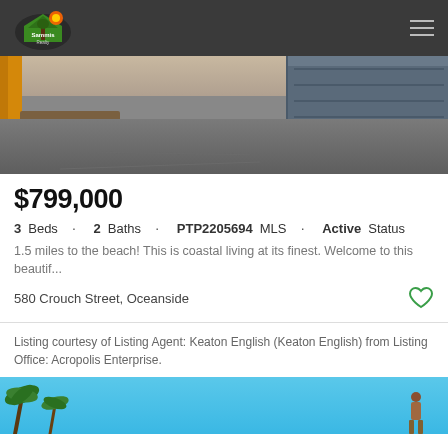Navigation bar with logo and hamburger menu
[Figure (photo): Exterior property photo showing a driveway, yellow wall/fence on left, and dark gray garage door on right]
$799,000
3 Beds · 2 Baths · PTP2205694 MLS · Active Status
1.5 miles to the beach! This is coastal living at its finest. Welcome to this beautif...
580 Crouch Street, Oceanside
Listing courtesy of Listing Agent: Keaton English (Keaton English) from Listing Office: Acropolis Enterprise.
[Figure (photo): Bottom photo showing palm trees against a blue sky with a person figure]